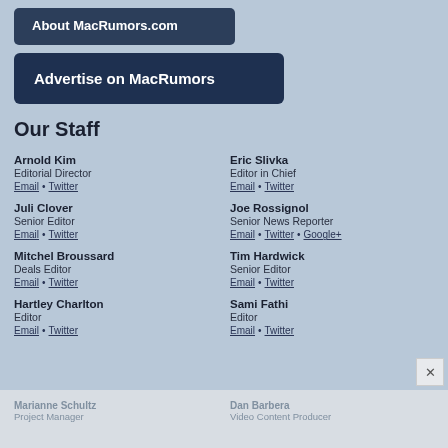About MacRumors.com
Advertise on MacRumors
Our Staff
Arnold Kim
Editorial Director
Email • Twitter
Eric Slivka
Editor in Chief
Email • Twitter
Juli Clover
Senior Editor
Email • Twitter
Joe Rossignol
Senior News Reporter
Email • Twitter • Google+
Mitchel Broussard
Deals Editor
Email • Twitter
Tim Hardwick
Senior Editor
Email • Twitter
Hartley Charlton
Editor
Email • Twitter
Sami Fathi
Editor
Email • Twitter
Marianne Schultz
Project Manager
Dan Barbera
Video Content Producer